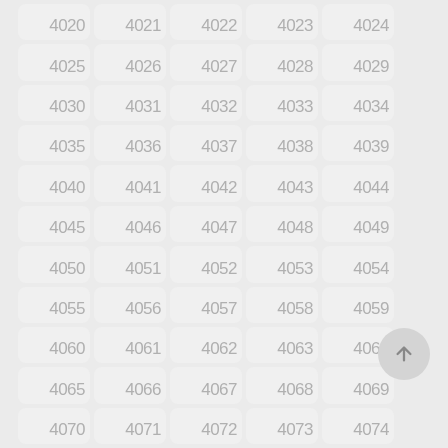[Figure (screenshot): A grid of numbered cells from 4020 to 4074 arranged in 5 columns and 12 rows, each cell showing a number in light gray on a slightly lighter rounded rectangle background. A back-to-top circular button with an upward arrow is visible in the bottom right.]